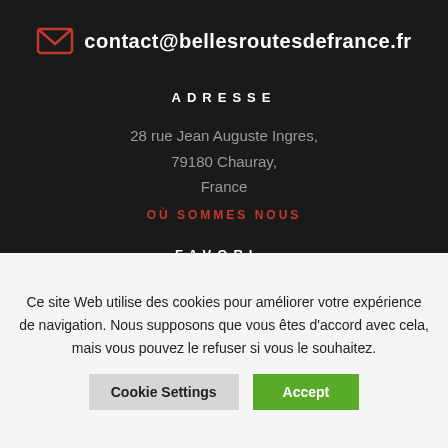contact@bellesroutesdefrance.fr
ADRESSE
28 rue Jean Auguste Ingres,
79180 Chauray,
France
OÙ SOMMES NOUS
FAVORI
Ce site Web utilise des cookies pour améliorer votre expérience de navigation. Nous supposons que vous êtes d'accord avec cela, mais vous pouvez le refuser si vous le souhaitez.
Cookie Settings
Accept